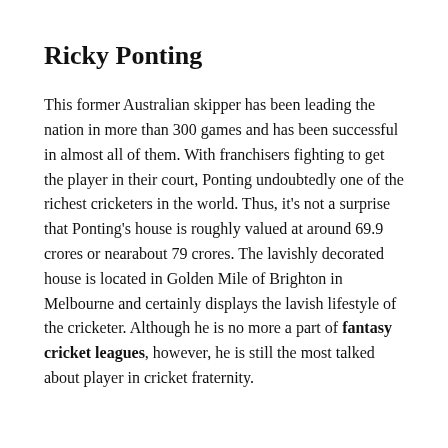Ricky Ponting
This former Australian skipper has been leading the nation in more than 300 games and has been successful in almost all of them. With franchisers fighting to get the player in their court, Ponting undoubtedly one of the richest cricketers in the world. Thus, it's not a surprise that Ponting's house is roughly valued at around 69.9 crores or nearabout 79 crores. The lavishly decorated house is located in Golden Mile of Brighton in Melbourne and certainly displays the lavish lifestyle of the cricketer. Although he is no more a part of fantasy cricket leagues, however, he is still the most talked about player in cricket fraternity.